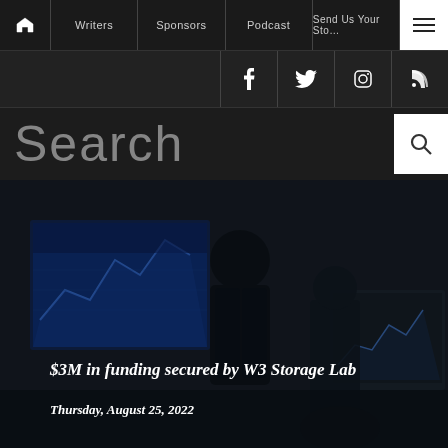Home | Writers | Sponsors | Podcast | Send Us Your Story | Menu
f | Twitter | Instagram | RSS
Search
[Figure (photo): Business professionals in a dark office with financial charts on screen in the background]
$3M in funding secured by W3 Storage Lab
Thursday, August 25, 2022